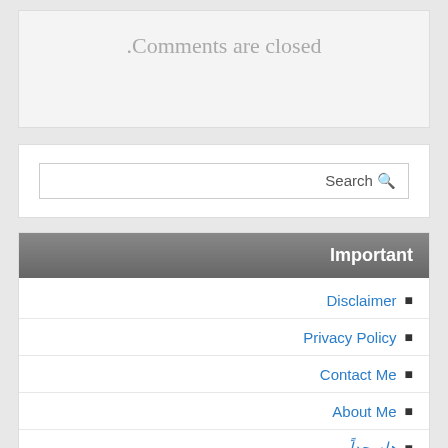.Comments are closed
Search 🔍
Important
Disclaimer
Privacy Policy
Contact Me
About Me
هام جداً
تصنيفات
اخبار